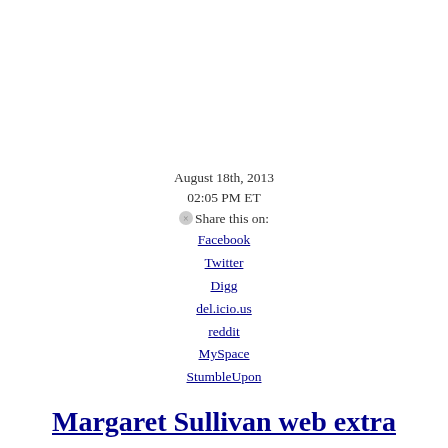August 18th, 2013
02:05 PM ET
⊗Share this on:
Facebook
Twitter
Digg
del.icio.us
reddit
MySpace
StumbleUpon
Margaret Sullivan web extra
More of guest host Joanne Lipman's interview with New York